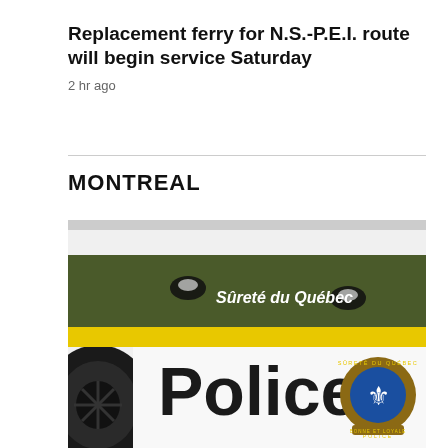Replacement ferry for N.S.-P.E.I. route will begin service Saturday
2 hr ago
MONTREAL
[Figure (photo): Side door of a Sûreté du Québec Police car showing the word 'Police' in large bold letters, a Sûreté du Québec badge/crest, and 'Sûreté du Québec' text. The car has a white lower body with an olive/army green upper stripe and a yellow accent stripe.]